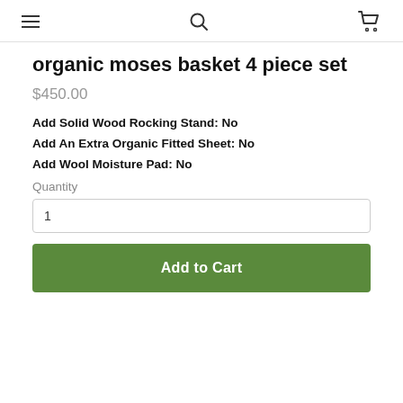Navigation bar with hamburger menu, search icon, and cart icon
organic moses basket 4 piece set
$450.00
Add Solid Wood Rocking Stand: No
Add An Extra Organic Fitted Sheet: No
Add Wool Moisture Pad: No
Quantity
1
Add to Cart